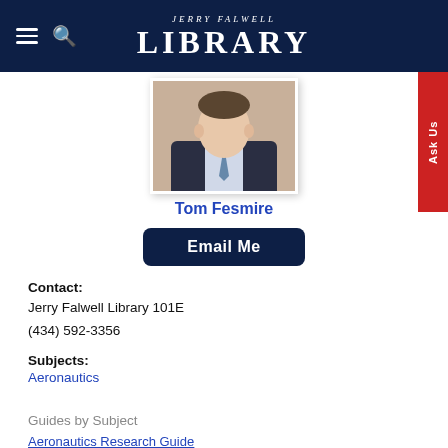Jerry Falwell Library
[Figure (photo): Profile photo of Tom Fesmire, a man in a dark suit with a tie]
Tom Fesmire
Email Me
Contact: Jerry Falwell Library 101E (434) 592-3356
Subjects: Aeronautics
Guides by Subject